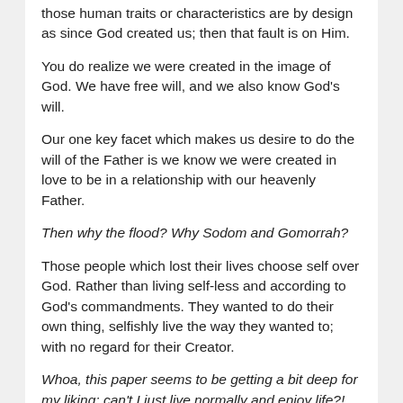those human traits or characteristics are by design as since God created us; then that fault is on Him.
You do realize we were created in the image of God. We have free will, and we also know God's will.
Our one key facet which makes us desire to do the will of the Father is we know we were created in love to be in a relationship with our heavenly Father.
Then why the flood? Why Sodom and Gomorrah?
Those people which lost their lives choose self over God. Rather than living self-less and according to God's commandments. They wanted to do their own thing, selfishly live the way they wanted to; with no regard for their Creator.
Whoa, this paper seems to be getting a bit deep for my liking; can't I just live normally and enjoy life?!
My question would be, define normal and the things